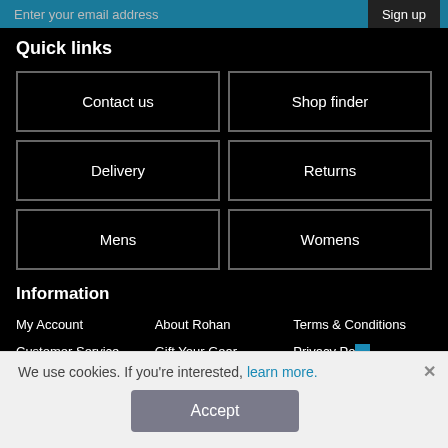Enter your email address | Sign up
Quick links
Contact us
Shop finder
Delivery
Returns
Mens
Womens
Information
My Account
About Rohan
Terms & Conditions
Customer Service
Gift Your Gear
Privacy Po...
We use cookies. If you're interested, learn more.
Accept